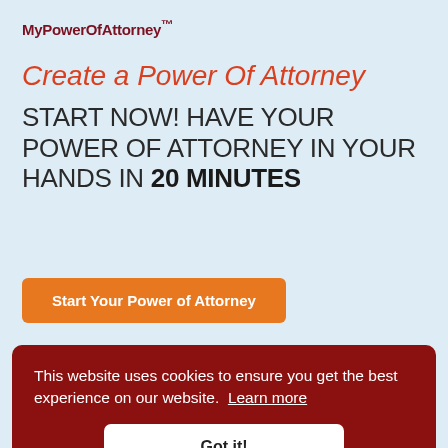MyPowerOfAttorney™
Create a Power Of Attorney
START NOW! HAVE YOUR POWER OF ATTORNEY IN YOUR HANDS IN 20 MINUTES
Start Your Power of Attorney
[Figure (photo): Partial view of a person (blond hair visible) at the bottom of the page behind the cookie banner]
This website uses cookies to ensure you get the best experience on our website. Learn more
Got it!